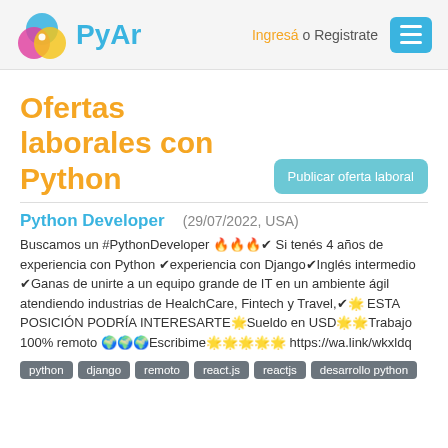PyAr — Ingresá o Registrate
Ofertas laborales con Python
Python Developer  (29/07/2022, USA)
Buscamos un #PythonDeveloper 🔥🔥🔥✔Si tenés 4 años de experiencia con Python ✔experiencia con Django✔Inglés intermedio ✔Ganas de unirte a un equipo grande de IT en un ambiente ágil atendiendo industrias de HealchCare, Fintech y Travel,✔🌟 ESTA POSICIÓN PODRÍA INTERESARTE🌟Sueldo en USD🌟🌟Trabajo 100% remoto 🌍🌍🌍Escribime🌟🌟🌟🌟🌟 https://wa.link/wkxldq
python
django
remoto
react.js
reactjs
desarrollo python